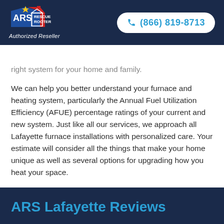[Figure (logo): ARS Rescue Rooter logo with Authorized Reseller text and phone number pill (866) 819-8713]
right system for your home and family.
We can help you better understand your furnace and heating system, particularly the Annual Fuel Utilization Efficiency (AFUE) percentage ratings of your current and new system. Just like all our services, we approach all Lafayette furnace installations with personalized care. Your estimate will consider all the things that make your home unique as well as several options for upgrading how you heat your space.
ARS Lafayette Reviews